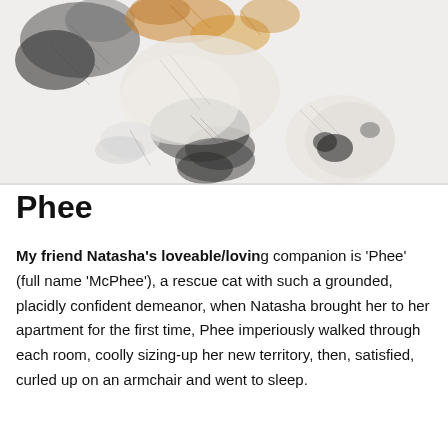[Figure (illustration): A pencil and watercolor sketch of a cat (Phee/McPhee) lying on its back, showing black, orange/amber, and white fur patches. The drawing has loose gestural lines with light color washes.]
Phee
My friend Natasha's loveable/loving companion is 'Phee' (full name 'McPhee'), a rescue cat with such a grounded, placidly confident demeanor, when Natasha brought her to her apartment for the first time, Phee imperiously walked through each room, coolly sizing-up her new territory, then, satisfied, curled up on an armchair and went to sleep.